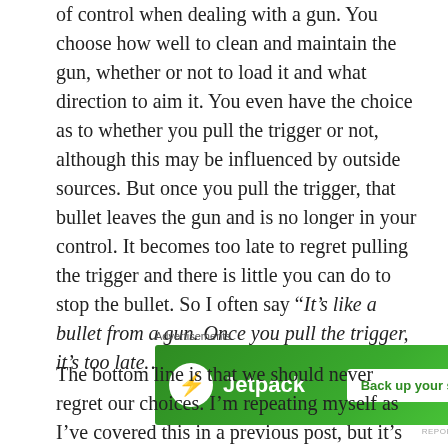of control when dealing with a gun. You choose how well to clean and maintain the gun, whether or not to load it and what direction to aim it. You even have the choice as to whether you pull the trigger or not, although this may be influenced by outside sources. But once you pull the trigger, that bullet leaves the gun and is no longer in your control. It becomes too late to regret pulling the trigger and there is little you can do to stop the bullet. So I often say “It’s like a bullet from a gun. Once you pull the trigger, it’s too late…”
[Figure (other): Jetpack advertisement banner with green background, Jetpack logo on left, and 'Back up your site' button on right]
The bottom line is that we should never regret our choices. I’m repeating myself as I’ve covered this in a previous post, but it’s true. We are the culmination